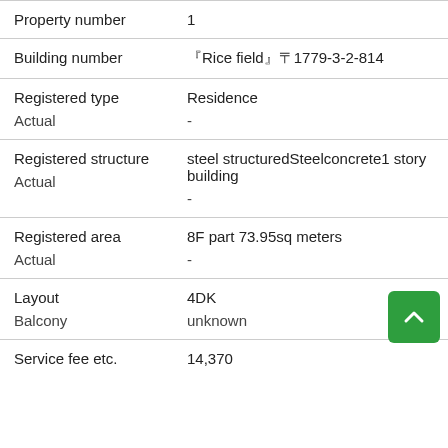| Property | Value |
| --- | --- |
| Property number | 1 |
| Building number | 『Rice field』　1779-3-2-814 |
| Registered type
Actual | Residence
- |
| Registered structure
Actual | steel structuredSteelconcrete1 story building
- |
| Registered area
Actual | 8F part 73.95sq meters
- |
| Layout
Balcony | 4DK
unknown |
| Service fee etc. | 14,370 |